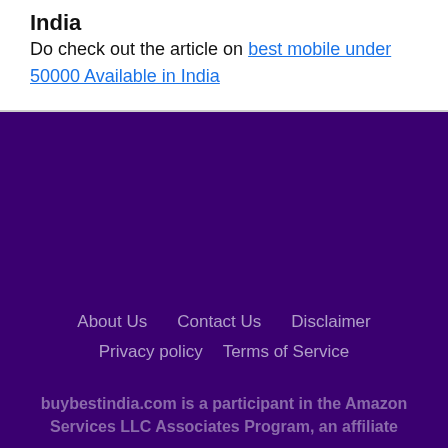India
Do check out the article on best mobile under 50000 Available in India
About Us   Contact Us   Disclaimer   Privacy policy   Terms of Service   buybestindia.com is a participant in the Amazon Services LLC Associates Program, an affiliate